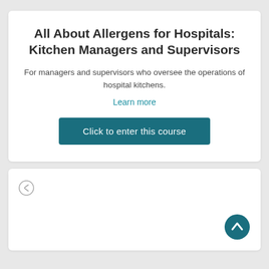All About Allergens for Hospitals: Kitchen Managers and Supervisors
For managers and supervisors who oversee the operations of hospital kitchens.
Learn more
Click to enter this course
[Figure (other): Back navigation icon — circular arrow pointing left]
[Figure (other): Scroll to top button — teal circle with upward chevron]